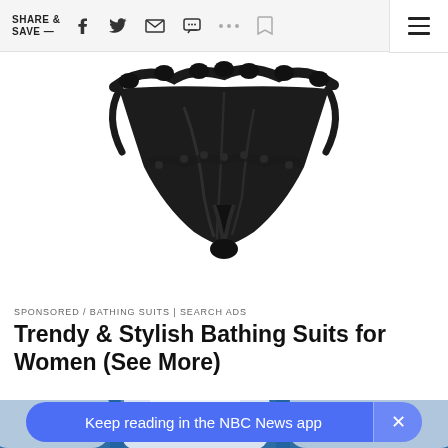SHARE & SAVE —
[Figure (photo): Black lace lingerie/thong on white background]
SPONSORED / BATHING SUITS | SEARCH ADS
Trendy & Stylish Bathing Suits for Women (See More)
[Figure (photo): Blurred airplane seats with blue headrests]
Keep reading in the NBC News app